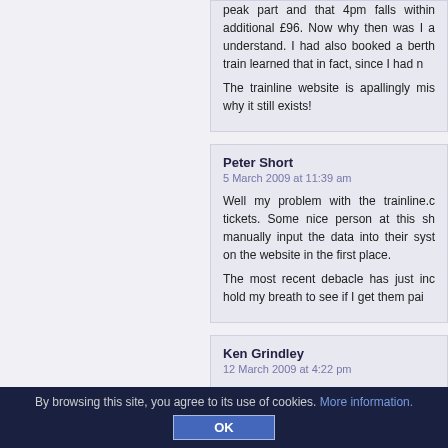peak part and that 4pm falls within additional £96. Now why then was I a understand. I had also booked a berth train learned that in fact, since I had n
The trainline website is apallingly mis why it still exists!
Peter Short
5 March 2009 at 11:39 am

Well my problem with the trainline.c tickets. Some nice person at this sh manually input the data into their syst on the website in the first place.

The most recent debacle has just inc hold my breath to see if I get them pai
Ken Grindley
12 March 2009 at 4:22 pm

Sounds like I am not alone, I booke send the tickets, I accepted the £10 station.
By browsing this site, you agree to its use of cookies. More information.